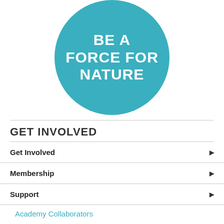[Figure (illustration): Teal/cyan circle with white bold text reading 'BE A FORCE FOR NATURE']
GET INVOLVED
Get Involved
Membership
Support
Academy Collaborators
Adopt-A-Critter
Amazon Wish List